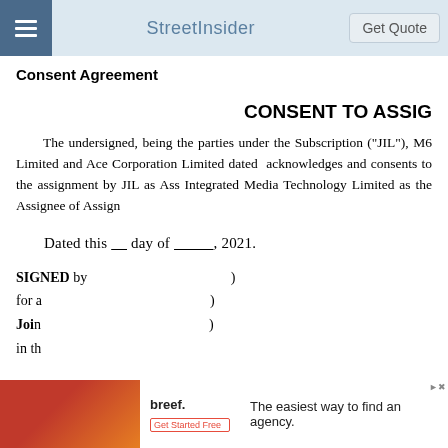StreetInsider  Get Quote
Consent Agreement
CONSENT TO ASSIGN
The undersigned, being the parties under the Subscription ("JIL"), M6 Limited and Ace Corporation Limited dated acknowledges and consents to the assignment by JIL as Ass Integrated Media Technology Limited as the Assignee of Assign
Dated this ____ day of __________, 2021.
SIGNED by                                          ) for a                                                ) Joint                                                ) in th